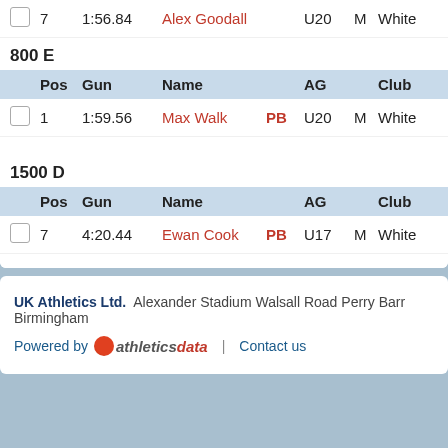|  | Pos | Gun | Name | AG | Club |
| --- | --- | --- | --- | --- | --- |
| ☐ | 7 | 1:56.84 | Alex Goodall | U20 | M | White |
800 E
|  | Pos | Gun | Name | AG | Club |
| --- | --- | --- | --- | --- | --- |
| ☐ | 1 | 1:59.56 | Max Walk PB | U20 | M | White |
1500 D
|  | Pos | Gun | Name | AG | Club |
| --- | --- | --- | --- | --- | --- |
| ☐ | 7 | 4:20.44 | Ewan Cook PB | U17 | M | White |
UK Athletics Ltd. Alexander Stadium Walsall Road Perry Barr Birmingham
Powered by athleticsdata | Contact us